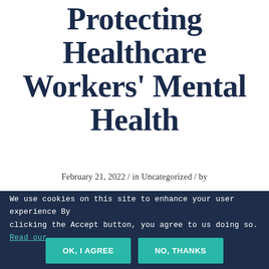Legislation Protecting Healthcare Workers' Mental Health
February 21, 2022 / in Uncategorized / by
We use cookies on this site to enhance your user experience By clicking the Accept button, you agree to us doing so. Read our Privacy Policy
The Dr. Lorna Breen Heroes' Foundation applauds the U.S. Senate for passing the Dr. Lorna